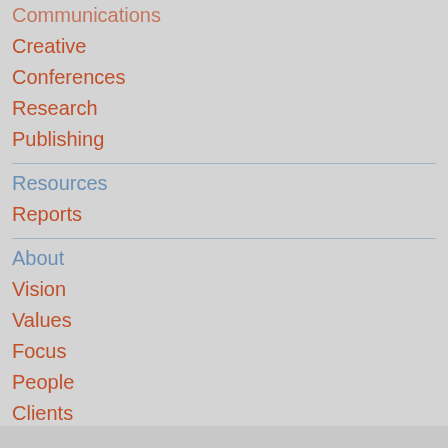Communications
Creative
Conferences
Research
Publishing
Resources
Reports
About
Vision
Values
Focus
People
Clients
Images
Views